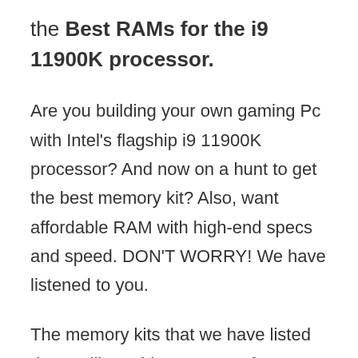the Best RAMs for the i9 11900K processor.
Are you building your own gaming Pc with Intel's flagship i9 11900K processor? And now on a hunt to get the best memory kit? Also, want affordable RAM with high-end specs and speed. DON'T WORRY! We have listened to you.
The memory kits that we have listed down will provide you every feature you can